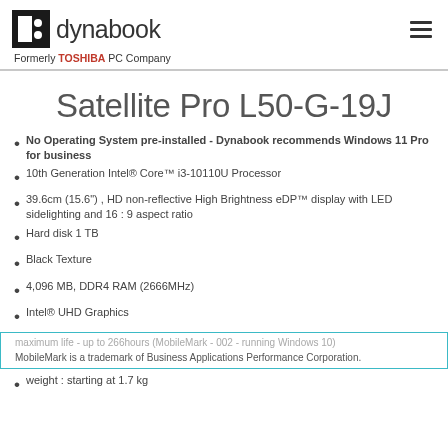dynabook — Formerly TOSHIBA PC Company
Satellite Pro L50-G-19J
No Operating System pre-installed - Dynabook recommends Windows 11 Pro for business
10th Generation Intel® Core™ i3-10110U Processor
39.6cm (15.6") , HD non-reflective High Brightness eDP™ display with LED sidelighting and 16 : 9 aspect ratio
Hard disk 1 TB
Black Texture
4,096 MB, DDR4 RAM (2666MHz)
Intel® UHD Graphics
maximum life - up to 266hours (MobileMark - 002 - running Windows 10)
MobileMark is a trademark of Business Applications Performance Corporation.
weight : starting at 1.7 kg